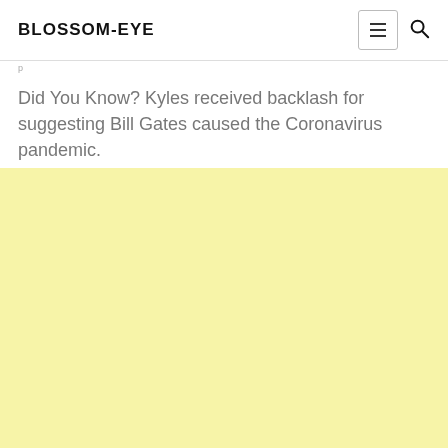BLOSSOM-EYE
Did You Know? Kyles received backlash for suggesting Bill Gates caused the Coronavirus pandemic.
[Figure (other): Light yellow advertisement or content block filling the lower portion of the page]